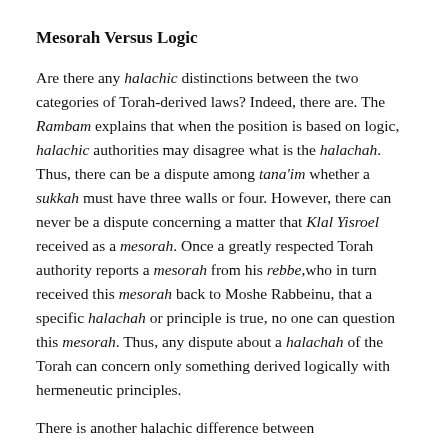Mesorah Versus Logic
Are there any halachic distinctions between the two categories of Torah-derived laws? Indeed, there are. The Rambam explains that when the position is based on logic, halachic authorities may disagree what is the halachah. Thus, there can be a dispute among tana'im whether a sukkah must have three walls or four. However, there can never be a dispute concerning a matter that Klal Yisroel received as a mesorah. Once a greatly respected Torah authority reports a mesorah from his rebbe,who in turn received this mesorah back to Moshe Rabbeinu, that a specific halachah or principle is true, no one can question this mesorah. Thus, any dispute about a halachah of the Torah can concern only something derived logically with hermeneutic principles.
There is another halachic difference between...